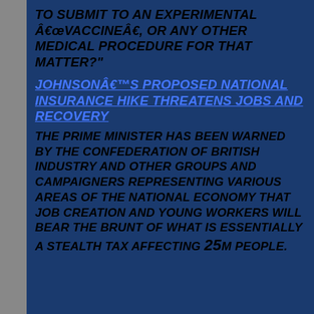TO SUBMIT TO AN EXPERIMENTAL â€œVACCINEâ€�, OR ANY OTHER MEDICAL PROCEDURE FOR THAT MATTER?"
JOHNSONâ€™S PROPOSED NATIONAL INSURANCE HIKE THREATENS JOBS AND RECOVERY
THE PRIME MINISTER HAS BEEN WARNED BY THE CONFEDERATION OF BRITISH INDUSTRY AND OTHER GROUPS AND CAMPAIGNERS REPRESENTING VARIOUS AREAS OF THE NATIONAL ECONOMY THAT JOB CREATION AND YOUNG WORKERS WILL BEAR THE BRUNT OF WHAT IS ESSENTIALLY A STEALTH TAX AFFECTING 25M PEOPLE.